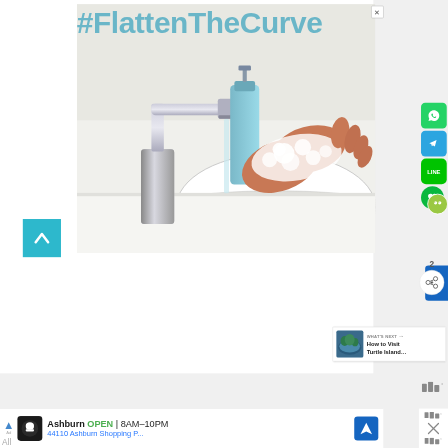[Figure (screenshot): Screenshot of a webpage showing a #FlattenTheCurve public health advertisement with a photo of hands being washed at a sink with soap suds, a chrome faucet and soap dispenser visible. Social media sharing icons (WhatsApp, Telegram, LINE, WeChat) appear on the right sidebar. A 'What's Next' panel shows 'How to Visit Turtle Island...' Below is a Google Maps/local ad for 'Ashburn OPEN 8AM-10PM, 44110 Ashburn Shopping P...' A cyan back-to-top arrow button appears on the left side.]